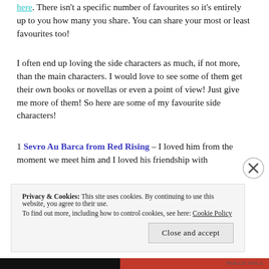here. There isn't a specific number of favourites so it's entirely up to you how many you share. You can share your most or least favourites too!
I often end up loving the side characters as much, if not more, than the main characters. I would love to see some of them get their own books or novellas or even a point of view! Just give me more of them! So here are some of my favourite side characters!
1 Sevro Au Barca from Red Rising – I loved him from the moment we meet him and I loved his friendship with
Privacy & Cookies: This site uses cookies. By continuing to use this website, you agree to their use. To find out more, including how to control cookies, see here: Cookie Policy
Close and accept